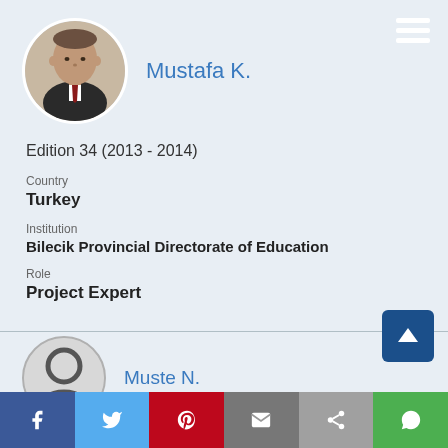[Figure (photo): Circular profile photo of a man in a dark suit and tie]
Mustafa K.
Edition 34 (2013 - 2014)
Country
Turkey
Institution
Bilecik Provincial Directorate of Education
Role
Project Expert
[Figure (photo): Partially visible circular avatar placeholder for a second profile]
Muste N.